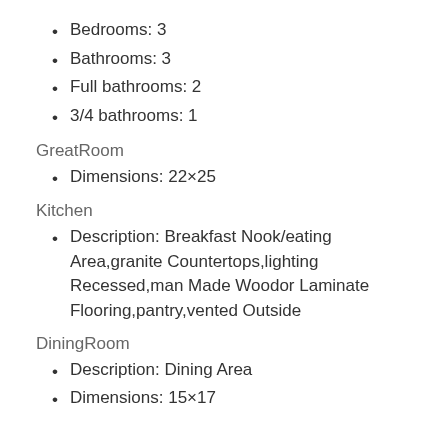Bedrooms: 3
Bathrooms: 3
Full bathrooms: 2
3/4 bathrooms: 1
GreatRoom
Dimensions: 22×25
Kitchen
Description: Breakfast Nook/eating Area,granite Countertops,lighting Recessed,man Made Woodor Laminate Flooring,pantry,vented Outside
DiningRoom
Description: Dining Area
Dimensions: 15×17